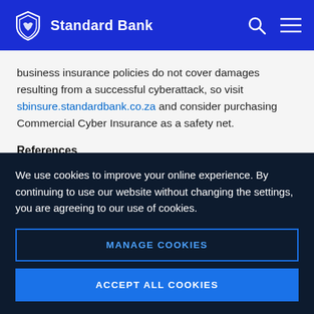Standard Bank
business insurance policies do not cover damages resulting from a successful cyberattack, so visit sbinsure.standardbank.co.za and consider purchasing Commercial Cyber Insurance as a safety net.
References
Ponemon Institute. 2020. ‘Cyber Security in the Remote Work Era: A Global Risk Report’. Available [Online]
We use cookies to improve your online experience. By continuing to use our website without changing the settings, you are agreeing to our use of cookies.
MANAGE COOKIES
ACCEPT ALL COOKIES